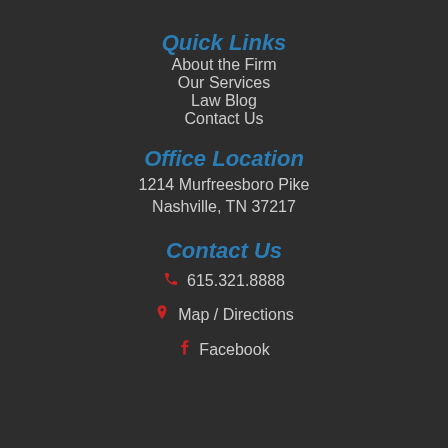Quick Links
About the Firm
Our Services
Law Blog
Contact Us
Office Location
1214 Murfreesboro Pike
Nashville, TN 37217
Contact Us
615.321.8888
Map / Directions
Facebook